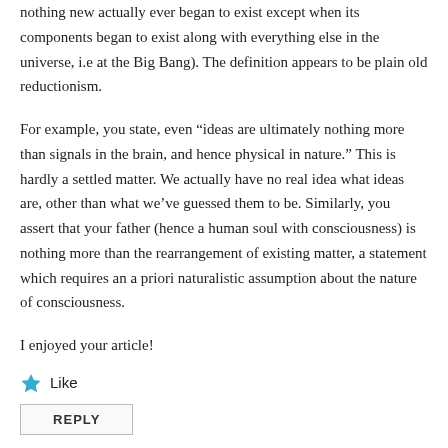nothing new actually ever began to exist except when its components began to exist along with everything else in the universe, i.e at the Big Bang). The definition appears to be plain old reductionism.
For example, you state, even “ideas are ultimately nothing more than signals in the brain, and hence physical in nature.” This is hardly a settled matter. We actually have no real idea what ideas are, other than what we’ve guessed them to be. Similarly, you assert that your father (hence a human soul with consciousness) is nothing more than the rearrangement of existing matter, a statement which requires an a priori naturalistic assumption about the nature of consciousness.
I enjoyed your article!
Like
REPLY